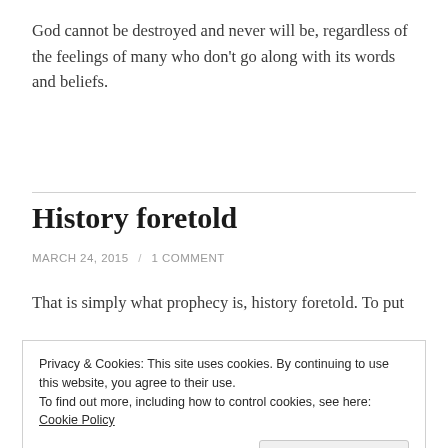God cannot be destroyed and never will be, regardless of the feelings of many who don't go along with its words and beliefs.
History foretold
MARCH 24, 2015 / 1 COMMENT
That is simply what prophecy is, history foretold. To put
Privacy & Cookies: This site uses cookies. By continuing to use this website, you agree to their use.
To find out more, including how to control cookies, see here: Cookie Policy
Close and accept
instruments of this, forcing the end-time prophecies to